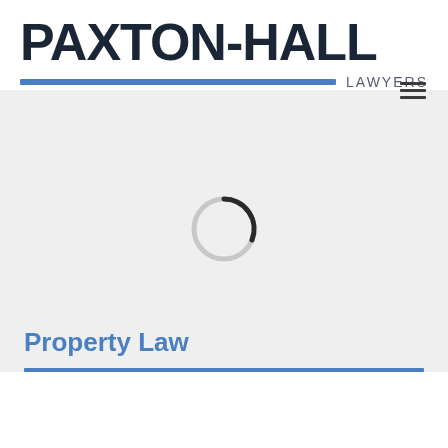PAXTON-HALL
LAWYERS
[Figure (other): Loading spinner circle icon in light gray with dark arc at top]
Property Law